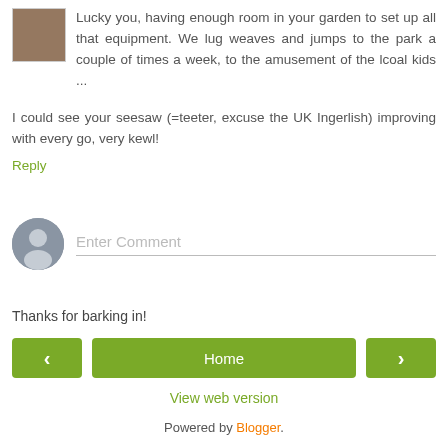Lucky you, having enough room in your garden to set up all that equipment. We lug weaves and jumps to the park a couple of times a week, to the amusement of the lcoal kids ...
I could see your seesaw (=teeter, excuse the UK Ingerlish) improving with every go, very kewl!
Reply
[Figure (other): Enter Comment input field with user avatar icon]
Thanks for barking in!
[Figure (other): Navigation bar with left arrow button, Home button, and right arrow button]
View web version
Powered by Blogger.